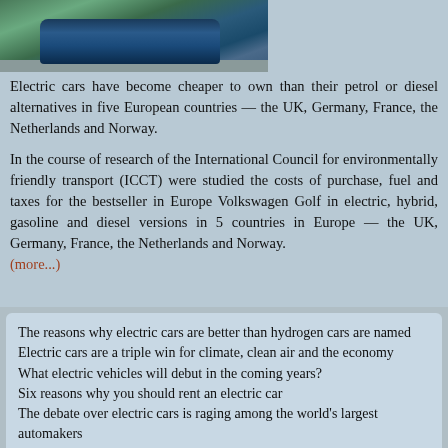[Figure (photo): Photo of a blue electric car (Volkswagen-style) parked outdoors with trees and gravel in the background.]
Electric cars have become cheaper to own than their petrol or diesel alternatives in five European countries — the UK, Germany, France, the Netherlands and Norway.
In the course of research of the International Council for environmentally friendly transport (ICCT) were studied the costs of purchase, fuel and taxes for the bestseller in Europe Volkswagen Golf in electric, hybrid, gasoline and diesel versions in 5 countries in Europe — the UK, Germany, France, the Netherlands and Norway. (more...)
The reasons why electric cars are better than hydrogen cars are named
Electric cars are a triple win for climate, clean air and the economy
What electric vehicles will debut in the coming years?
Six reasons why you should rent an electric car
The debate over electric cars is raging among the world's largest automakers
Experts have predicted 3 major evolutionary changes in the automotive industry by 2030
Depreciation of electric cars is happening faster than anticipated: in 2022 electric cars will become than internal combustion engine cars
Research: electric cars can save billions on healthcare